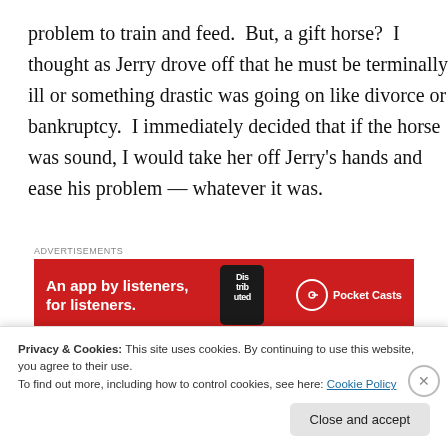problem to train and feed.  But, a gift horse?  I thought as Jerry drove off that he must be terminally ill or something drastic was going on like divorce or bankruptcy.  I immediately decided that if the horse was sound, I would take her off Jerry's hands and ease his problem — whatever it was.
[Figure (screenshot): Advertisement banner for Pocket Casts app: red background with text 'An app by listeners, for listeners.' and Pocket Casts logo with phone graphic showing 'Distributed' on screen]
Within the week, I drove down to Jerry's with my trailer
Privacy & Cookies: This site uses cookies. By continuing to use this website, you agree to their use.
To find out more, including how to control cookies, see here: Cookie Policy